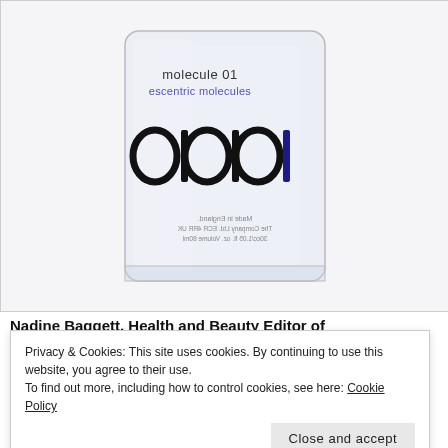[Figure (photo): A clear glass perfume bottle for 'molecule 01' by 'escentric molecules', showing the bottle label with large circular/oval letter patterns and small text below reading 'Made in England. The Company Ltd. ECR 4RR UK. 30cc/1.05 fl. oz. Volume 80ml']
Nadine Baggett, Health and Beauty Editor of
Privacy & Cookies: This site uses cookies. By continuing to use this website, you agree to their use.
To find out more, including how to control cookies, see here: Cookie Policy
Close and accept
If you want to indulge your partner in a scent that